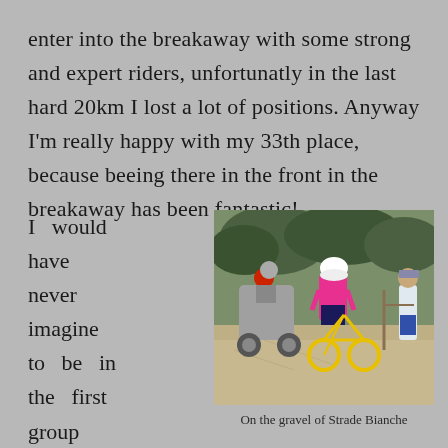enter into the breakaway with some strong and expert riders, unfortunatly in the last hard 20km I lost a lot of positions. Anyway I'm really happy with my 33th place, because beeing there in the front in the breakaway has been fantastic!
I would have never imagine to be in the first group for so long, and
[Figure (photo): A cyclist in pink jersey and white helmet riding a yellow bicycle on a gravel road at Strade Bianche, with a motorcycle following and spectators on the right side, trees in the background.]
On the gravel of Strade Bianche